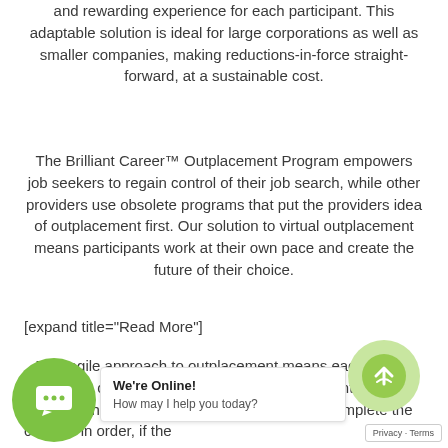and rewarding experience for each participant. This adaptable solution is ideal for large corporations as well as smaller companies, making reductions-in-force straight-forward, at a sustainable cost.
The Brilliant Career™ Outplacement Program empowers job seekers to regain control of their job search, while other providers use obsolete programs that put the providers idea of outplacement first. Our solution to virtual outplacement means participants work at their own pace and create the future of their choice.
[expand title="Read More"]
This agile approach to outplacement means each participant can jump into the program at any point in their search. While it is recommended participants complete the courses in order, if the